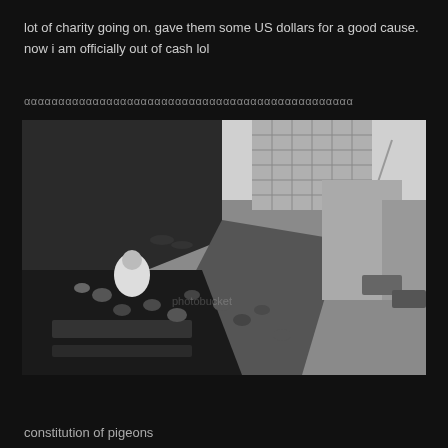lot of charity going on. gave them some US dollars for a good cause. now i am officially out of cash lol
ααααααααααααααααααααααααααααααααααααααααααααααα
[Figure (photo): Black and white tilted wide-angle photo of a city street with pigeons in the foreground, buildings, motorcycles, and traffic in the background.]
constitution of pigeons